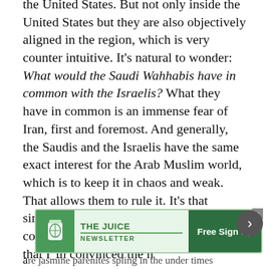the United States. But not only inside the United States but they are also objectively aligned in the region, which is very counter intuitive. It's natural to wonder: What would the Saudi Wahhabis have in common with the Israelis? What they have in common is an immense fear of Iran, first and foremost. And generally, the Saudis and the Israelis have the same exact interest for the Arab Muslim world, which is to keep it in chaos and weak. That allows them to rule it. It's that simple(…) [Provoking Russia in Syria] is completely nuts. And it is due to that fact that I 'm convinced the n... th... a...
[Figure (other): Advertisement banner for 'The Juice Newsletter' with a green background, cup logo, and 'Free Sign Up' button. A close (x) button in the top right corner and a back navigation arrow button to the right.]
are jasmine parenites spling in the under times